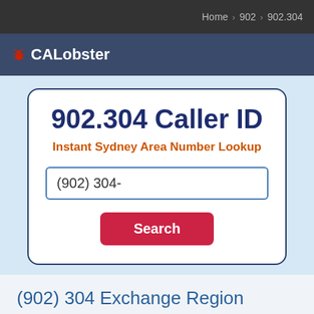Home › 902 › 902.304
CALobster
902.304 Caller ID
Instant Sydney Area Number Lookup
(902) 304-
Search
(902) 304 Exchange Region